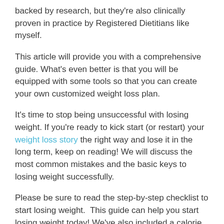backed by research, but they're also clinically proven in practice by Registered Dietitians like myself.
This article will provide you with a comprehensive guide. What's even better is that you will be equipped with some tools so that you can create your own customized weight loss plan.
It's time to stop being unsuccessful with losing weight. If you're ready to kick start (or restart) your weight loss story the right way and lose it in the long term, keep on reading! We will discuss the most common mistakes and the basic keys to losing weight successfully.
Please be sure to read the step-by-step checklist to start losing weight. This guide can help you start losing weight today! We've also included a calorie guide and portion size guide to help make your weight loss journey easier!